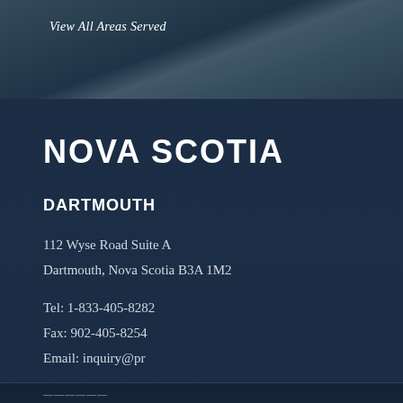View All Areas Served
NOVA SCOTIA
DARTMOUTH
112 Wyse Road Suite A
Dartmouth, Nova Scotia B3A 1M2
Tel: 1-833-405-8282
Fax: 902-405-8254
Email: inquiry@pr...
[Figure (photo): Customer service representative with headset, with a chat bubble overlay saying 'Hi how can I help?']